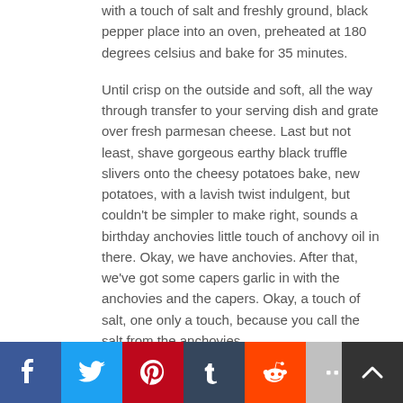with a touch of salt and freshly ground, black pepper place into an oven, preheated at 180 degrees celsius and bake for 35 minutes.

Until crisp on the outside and soft, all the way through transfer to your serving dish and grate over fresh parmesan cheese. Last but not least, shave gorgeous earthy black truffle slivers onto the cheesy potatoes bake, new potatoes, with a lavish twist indulgent, but couldn't be simpler to make right, sounds a birthday anchovies little touch of anchovy oil in there. Okay, we have anchovies. After that, we've got some capers garlic in with the anchovies and the capers. Okay, a touch of salt, one only a touch, because you call the salt from the anchovies
[Figure (other): Social media share buttons: Facebook (blue), Twitter (light blue), Pinterest (red), Tumblr (dark blue/navy), Reddit (orange), More/Share (gray). Plus a scroll-to-top button (dark gray with up arrow) at bottom right.]